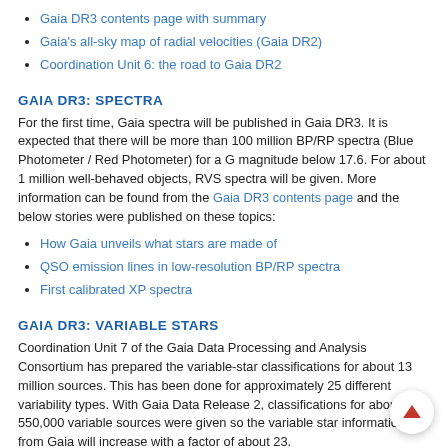Gaia DR3 contents page with summary
Gaia's all-sky map of radial velocities (Gaia DR2)
Coordination Unit 6: the road to Gaia DR2
GAIA DR3: SPECTRA
For the first time, Gaia spectra will be published in Gaia DR3. It is expected that there will be more than 100 million BP/RP spectra (Blue Photometer / Red Photometer) for a G magnitude below 17.6. For about 1 million well-behaved objects, RVS spectra will be given. More information can be found from the Gaia DR3 contents page and the below stories were published on these topics:
How Gaia unveils what stars are made of
QSO emission lines in low-resolution BP/RP spectra
First calibrated XP spectra
GAIA DR3: VARIABLE STARS
Coordination Unit 7 of the Gaia Data Processing and Analysis Consortium has prepared the variable-star classifications for about 13 million sources. This has been done for approximately 25 different variability types. With Gaia Data Release 2, classifications for about 550,000 variable sources were given so the variable star information from Gaia will increase with a factor of about 23.
More information on variable stars with Gaia can be found from the below sources:
The motion of variable stars in the Gaia colour-magnitude diagram (Gaia DR2)
Gaia Data Release 2 papers (some of them covering the variable stars in Gaia DR2)